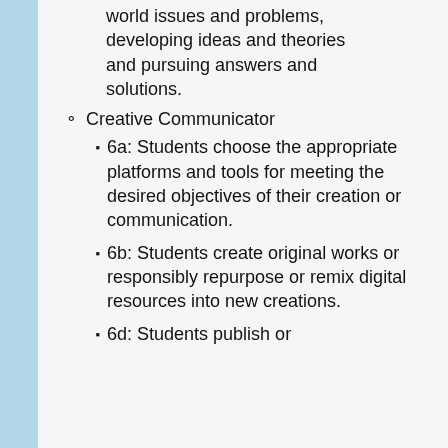world issues and problems, developing ideas and theories and pursuing answers and solutions.
Creative Communicator
6a: Students choose the appropriate platforms and tools for meeting the desired objectives of their creation or communication.
6b: Students create original works or responsibly repurpose or remix digital resources into new creations.
6d: Students publish or